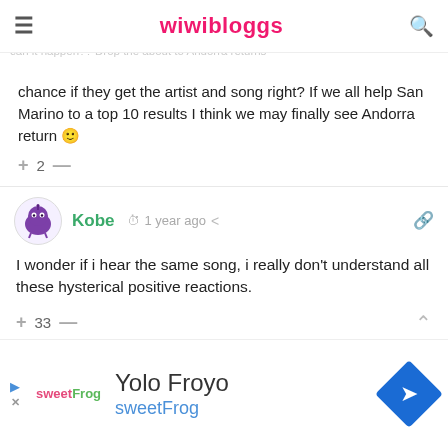wiwibloggs
chance if they get the artist and song right? If we all help San Marino to a top 10 results I think we may finally see Andorra return 🙂
+ 2 —
[Figure (illustration): Purple cartoon character avatar for user Kobe]
Kobe  🕐 1 year ago  🔗
I wonder if i hear the same song, i really don't understand all these hysterical positive reactions.
+ 33 —
[Figure (photo): Partial avatar of another user, brown hair visible]
Yolo Froyo sweetFrog